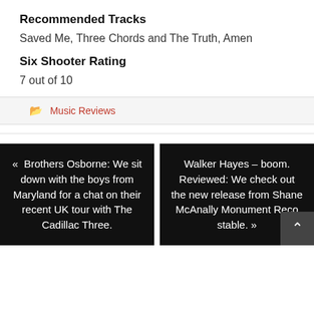Recommended Tracks
Saved Me, Three Chords and The Truth, Amen
Six Shooter Rating
7 out of 10
Music Reviews
« Brothers Osborne: We sit down with the boys from Maryland for a chat on their recent UK tour with The Cadillac Three.
Walker Hayes – boom. Reviewed: We check out the new release from Shane McAnally Monument Reco stable. »